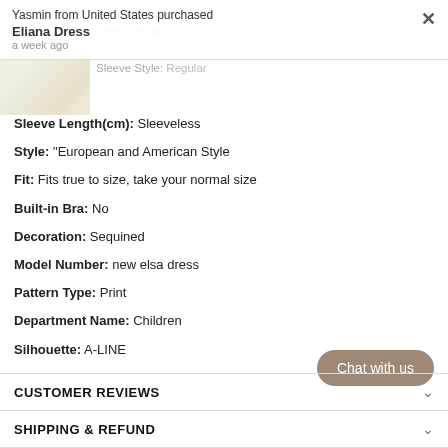[Figure (photo): Partial view of a floral dress product photo in top-left corner]
Season: Four Seasons
Dress Length: Ankle-Length
Collar: O-neck
Sleeve Style: Regular
Yasmin from United States purchased
Eliana Dress
a week ago
Sleeve Length(cm): Sleeveless
Style: "European and American Style
Fit: Fits true to size, take your normal size
Built-in Bra: No
Decoration: Sequined
Model Number: new elsa dress
Pattern Type: Print
Department Name: Children
Silhouette: A-LINE
CUSTOMER REVIEWS
SHIPPING & REFUND